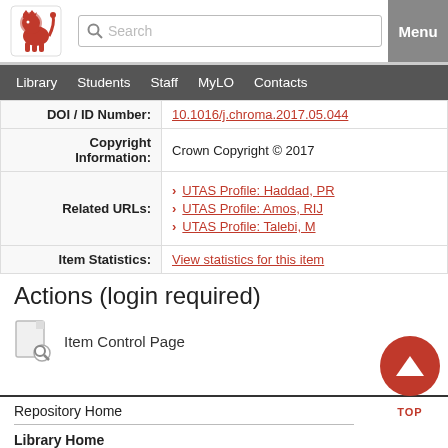UTAS Library - Search | Library | Students | Staff | MyLO | Contacts | Menu
| Field | Value |
| --- | --- |
| DOI / ID Number: | 10.1016/j.chroma.2017.05.044 |
| Copyright Information: | Crown Copyright © 2017 |
| Related URLs: | UTAS Profile: Haddad, PR | UTAS Profile: Amos, RIJ | UTAS Profile: Talebi, M |
| Item Statistics: | View statistics for this item |
Actions (login required)
Item Control Page
Repository Home
Library Home